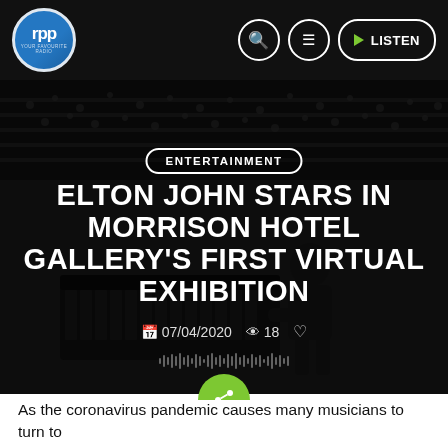[Figure (screenshot): RPP radio logo — blue circle with white RPP text and small subtitle text]
[Figure (photo): Black and white photo of a musician (Elton John) performing at a piano on a large stadium stage with crowd in background, dark overlay applied]
ENTERTAINMENT
ELTON JOHN STARS IN MORRISON HOTEL GALLERY'S FIRST VIRTUAL EXHIBITION
07/04/2020  18
As the coronavirus pandemic causes many musicians to turn to